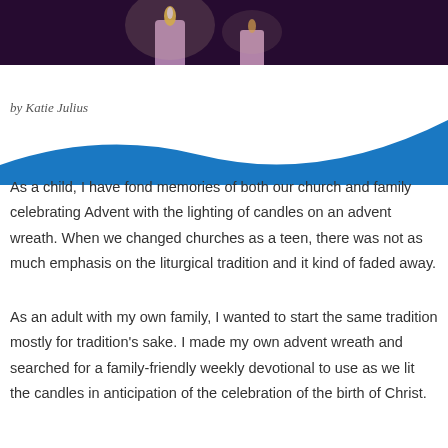[Figure (photo): Photo of advent candles glowing in purple/pink tones against a dark background]
by Katie Julius
As a child, I have fond memories of both our church and family celebrating Advent with the lighting of candles on an advent wreath. When we changed churches as a teen, there was not as much emphasis on the liturgical tradition and it kind of faded away.
As an adult with my own family, I wanted to start the same tradition mostly for tradition's sake. I made my own advent wreath and searched for a family-friendly weekly devotional to use as we lit the candles in anticipation of the celebration of the birth of Christ.